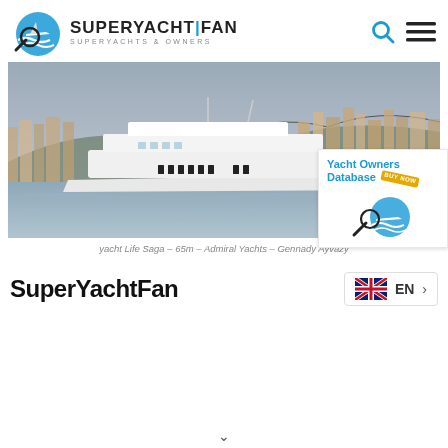[Figure (logo): SuperYachtFan logo with magnifying glass over yacht on blue waves, with text SUPERYACHT|FAN and SUPERYACHTS & OWNERS]
[Figure (photo): Large white superyacht Life Saga cruising in harbor with mountains and city in background]
[Figure (illustration): Yacht Owners Database advertisement badge with buy now ribbon and logo icon]
yacht Life Saga – 65m – Admiral Yachts – Gennady Ayvazy
SuperYachtFan
[Figure (infographic): EN language selector button with UK flag and right arrow chevron]